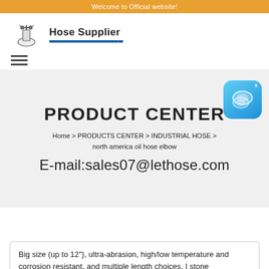Welcome to Official website!
[Figure (logo): Hose Supplier logo with icon and brand name text with blue underline]
[Figure (other): Hamburger menu icon (three horizontal lines)]
PRODUCT CENTER
[Figure (other): Blue chat bubble widget with X close button]
Home > PRODUCTS CENTER > INDUSTRIAL HOSE > north america oil hose elbow
E-mail:sales07@lethose.com
Big size (up to 12"), ultra-abrasion, high/low temperature and corrosion resistant, and multiple length choices. I stone